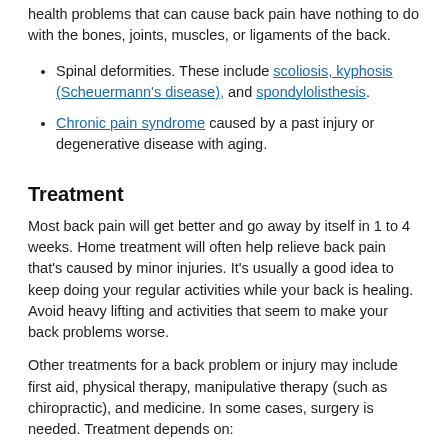health problems that can cause back pain have nothing to do with the bones, joints, muscles, or ligaments of the back.
Spinal deformities. These include scoliosis, kyphosis (Scheuermann's disease), and spondylolisthesis.
Chronic pain syndrome caused by a past injury or degenerative disease with aging.
Treatment
Most back pain will get better and go away by itself in 1 to 4 weeks. Home treatment will often help relieve back pain that's caused by minor injuries. It's usually a good idea to keep doing your regular activities while your back is healing. Avoid heavy lifting and activities that seem to make your back problems worse.
Other treatments for a back problem or injury may include first aid, physical therapy, manipulative therapy (such as chiropractic), and medicine. In some cases, surgery is needed. Treatment depends on:
The location and type of injury, and how bad it is.